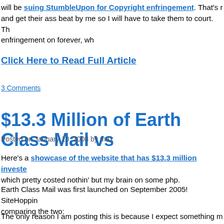will be suing StumbleUpon for Copyright enfringement. That's r and get their ass beat by me so I will have to take them to court. Th enfringement on forever, wh
Click Here to Read Full Article
3 Comments
$13.3 Million of Earth Class Mail vs
Posted on January 10, 2008 by max
Here's a showcase of the website that has $13.3 million investe which pretty costed nothin' but my brain on some php.
Earth Class Mail was first launched on September 2005! SiteHoppin comparing the two:
The only reason I am posting this is because I expect something m